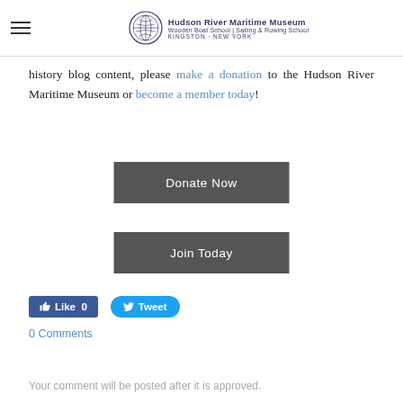Hudson River Maritime Museum | Wooden Boat School | Sailing & Rowing School | Kingston, New York
history blog content, please make a donation to the Hudson River Maritime Museum or become a member today!
[Figure (other): Donate Now button (dark grey rectangle)]
[Figure (other): Join Today button (dark grey rectangle)]
[Figure (other): Facebook Like button showing 0 likes and Twitter Tweet button]
0 Comments
Your comment will be posted after it is approved.